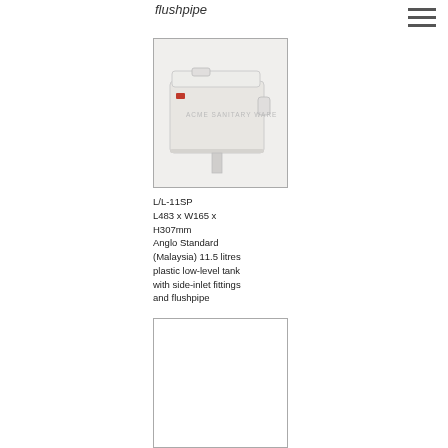flushpipe
[Figure (photo): White plastic low-level toilet cistern tank with side-inlet fittings, labeled 'ACME SANITARY WARE', shown from front angle with flushpipe at bottom.]
L/L-11SP
L483 x W165 x H307mm
Anglo Standard (Malaysia) 11.5 litres plastic low-level tank with side-inlet fittings and flushpipe
[Figure (photo): Second product image placeholder, white/blank.]